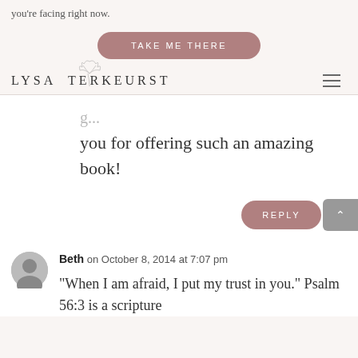you're facing right now.
TAKE ME THERE
[Figure (logo): Lysa TerKeurst logo with leaf/botanical illustration and text 'LYSA TERKEURST']
you for offering such an amazing book!
REPLY
Beth on October 8, 2014 at 7:07 pm
"When I am afraid, I put my trust in you." Psalm 56:3 is a scripture